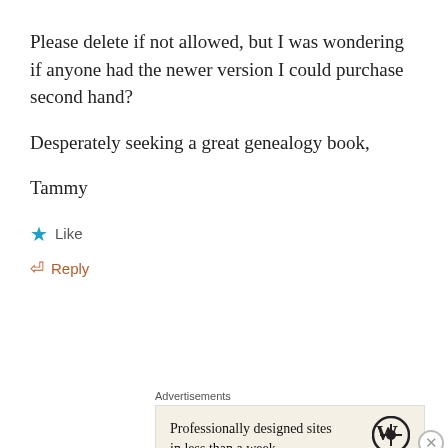Please delete if not allowed, but I was wondering if anyone had the newer version I could purchase second hand?
Desperately seeking a great genealogy book,
Tammy
★ Like
↩ Reply
Advertisements
[Figure (other): WordPress advertisement: Professionally designed sites in less than a week, with WordPress logo]
REPORT THIS AD
Advertisements
[Figure (other): MAC cosmetics advertisement showing lipsticks with SHOP NOW button]